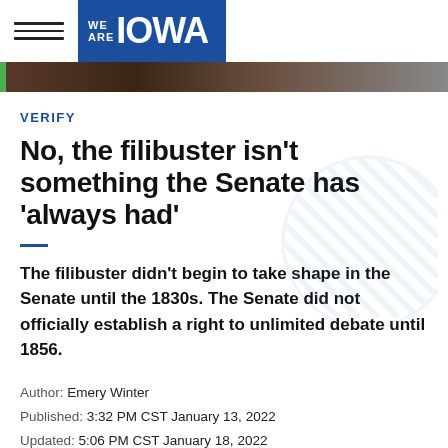WE ARE IOWA
[Figure (photo): Partial photo strip of a person, dark toned]
VERIFY
No, the filibuster isn't something the Senate has 'always had'
The filibuster didn't begin to take shape in the Senate until the 1830s. The Senate did not officially establish a right to unlimited debate until 1856.
Author: Emery Winter
Published: 3:32 PM CST January 13, 2022
Updated: 5:06 PM CST January 18, 2022
President Joe Biden issued his strongest endorsement yet for changing the Senate filibuster on Jan. 11, saying the